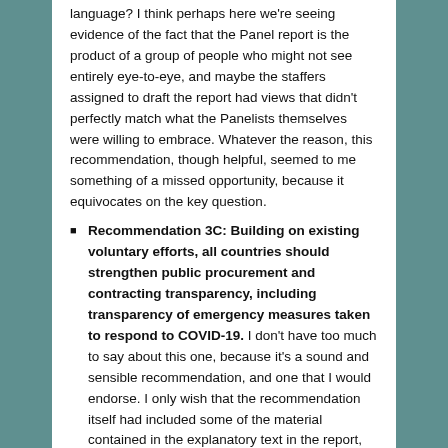language? I think perhaps here we're seeing evidence of the fact that the Panel report is the product of a group of people who might not see entirely eye-to-eye, and maybe the staffers assigned to draft the report had views that didn't perfectly match what the Panelists themselves were willing to embrace. Whatever the reason, this recommendation, though helpful, seemed to me something of a missed opportunity, because it equivocates on the key question.
Recommendation 3C: Building on existing voluntary efforts, all countries should strengthen public procurement and contracting transparency, including transparency of emergency measures taken to respond to COVID-19. I don't have too much to say about this one, because it's a sound and sensible recommendation, and one that I would endorse. I only wish that the recommendation itself had included some of the material contained in the explanatory text in the report, especially the